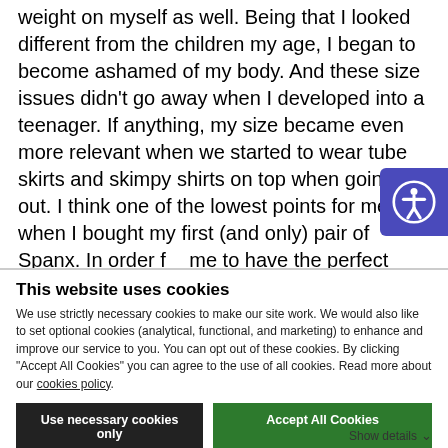weight on myself as well. Being that I looked different from the children my age, I began to become ashamed of my body. And these size issues didn't go away when I developed into a teenager. If anything, my size became even more relevant when we started to wear tube skirts and skimpy shirts on top when going out. I think one of the lowest points for me was when I bought my first (and only) pair of Spanx. In order for me to have the perfect hourglass body shape, I tugged and pulled these extremely skintight sculpting undergarments up onto my body. I had never felt so
This website uses cookies
We use strictly necessary cookies to make our site work. We would also like to set optional cookies (analytical, functional, and marketing) to enhance and improve our service to you. You can opt out of these cookies. By clicking "Accept All Cookies" you can agree to the use of all cookies. Read more about our cookies policy.
Use necessary cookies only
Accept All Cookies
Show details